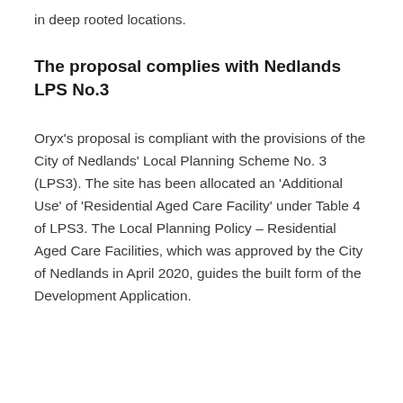in deep rooted locations.
The proposal complies with Nedlands LPS No.3
Oryx's proposal is compliant with the provisions of the City of Nedlands' Local Planning Scheme No. 3 (LPS3). The site has been allocated an 'Additional Use' of 'Residential Aged Care Facility' under Table 4 of LPS3. The Local Planning Policy – Residential Aged Care Facilities, which was approved by the City of Nedlands in April 2020, guides the built form of the Development Application.